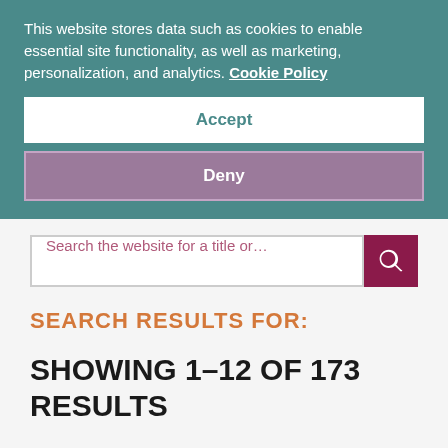This website stores data such as cookies to enable essential site functionality, as well as marketing, personalization, and analytics. Cookie Policy
Accept
Deny
Search the website for a title or…
SEARCH RESULTS FOR:
SHOWING 1–12 OF 173 RESULTS